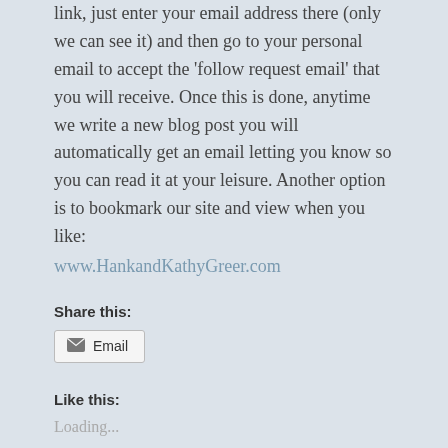link, just enter your email address there (only we can see it) and then go to your personal email to accept the 'follow request email' that you will receive. Once this is done, anytime we write a new blog post you will automatically get an email letting you know so you can read it at your leisure. Another option is to bookmark our site and view when you like:
www.HankandKathyGreer.com
Share this:
Email
Like this:
Loading...